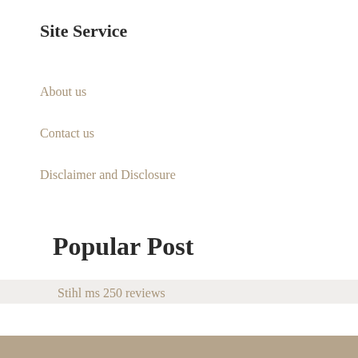Site Service
About us
Contact us
Disclaimer and Disclosure
Popular Post
Stihl ms 250 reviews